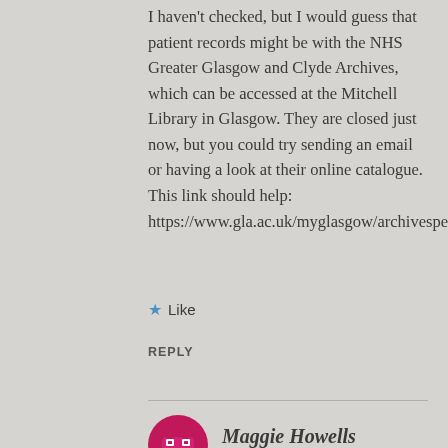I haven't checked, but I would guess that patient records might be with the NHS Greater Glasgow and Clyde Archives, which can be accessed at the Mitchell Library in Glasgow. They are closed just now, but you could try sending an email or having a look at their online catalogue. This link should help: https://www.gla.ac.uk/myglasgow/archivespecialcollections/
★ Like
REPLY
[Figure (illustration): Pink/magenta decorative avatar icon resembling a stylized creature or robot with geometric shapes]
Maggie Howells